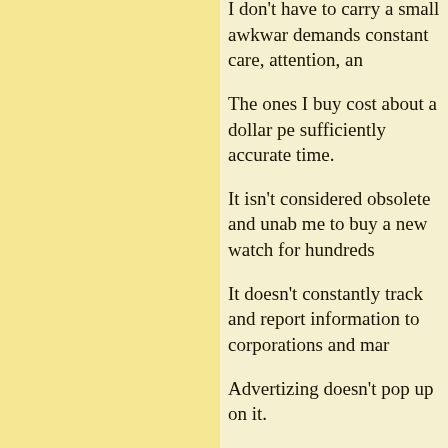I don't have to carry a small awkward demands constant care, attention, an
The ones I buy cost about a dollar pe sufficiently accurate time.
It isn't considered obsolete and unab me to buy a new watch for hundreds
It doesn't constantly track and report information to corporations and mar
Advertizing doesn't pop up on it.
It isn't a status symbol, and doesn't a constantly remind other people that
I don't have to repeatedly block unw
Usage is "hands free".
Its functions aren't slowed down by
It has a very simple, clean user inter